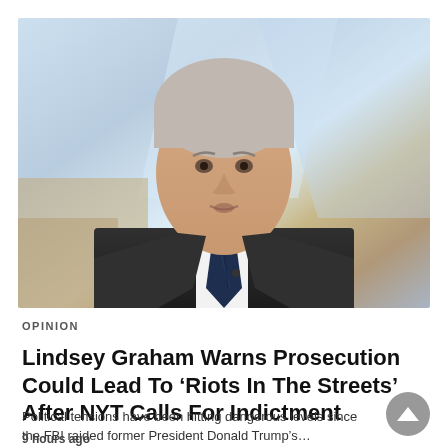[Figure (photo): Man in dark suit and striped tie speaking, with a blurred light-blue studio background. Identified as Lindsey Graham.]
OPINION
Lindsey Graham Warns Prosecution Could Lead To ‘Riots In The Streets’ After NYT Calls For Indictment
Political tensions have been hitting dangerous levels since the FBI raided former President Donald Trump’s…
9 hours ago